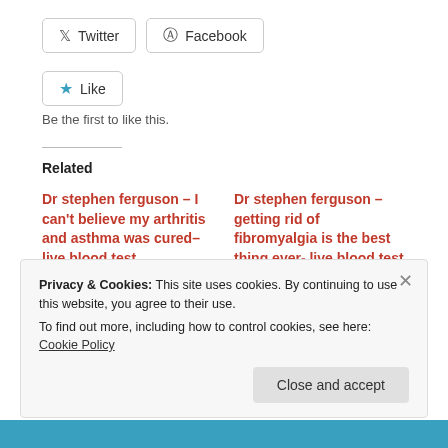[Figure (other): Twitter and Facebook share buttons]
[Figure (other): Like button with star icon and 'Be the first to like this.' text]
Be the first to like this.
Related
Dr stephen ferguson – I can't believe my arthritis and asthma was cured– live blood test
January 8, 2015
In "asthma"
Dr stephen ferguson – getting rid of fibromyalgia is the best thing ever- live blood test
January 8, 2015
In "body aches"
Privacy & Cookies: This site uses cookies. By continuing to use this website, you agree to their use.
To find out more, including how to control cookies, see here: Cookie Policy
Close and accept